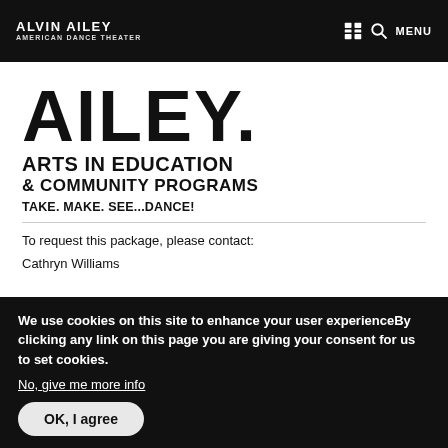ALVIN AILEY AMERICAN DANCE THEATER  MENU
AILEY. ARTS IN EDUCATION & COMMUNITY PROGRAMS
TAKE. MAKE. SEE...DANCE!
To request this package, please contact:
Cathryn Williams
We use cookies on this site to enhance your user experienceBy clicking any link on this page you are giving your consent for us to set cookies.
No, give me more info
OK, I agree